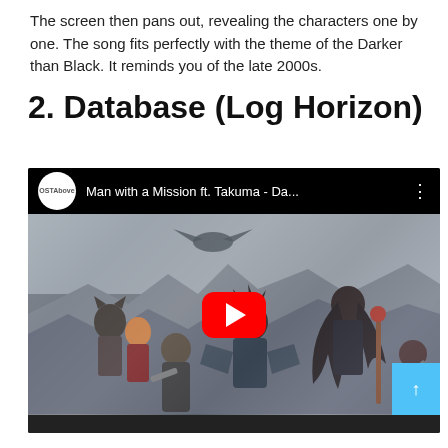The screen then pans out, revealing the characters one by one. The song fits perfectly with the theme of the Darker than Black. It reminds you of the late 2000s.
2. Database (Log Horizon)
[Figure (screenshot): YouTube video embed showing 'Man with a Mission ft. Takuma - Da...' from channel OSTAbove, with anime characters from Log Horizon in the thumbnail and a red YouTube play button in the center.]